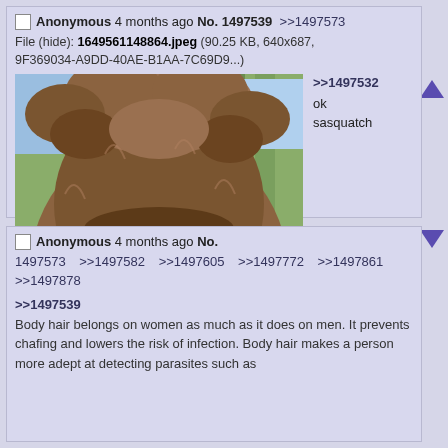Anonymous 4 months ago No. 1497539  >>1497573
File (hide): 1649561148864.jpeg (90.25 KB, 640x687, 9F369034-A9DD-40AE-B1AA-7C69D9...)
[Figure (photo): Close-up photo of a Sasquatch/Bigfoot costume or creature with matted brown fur covering its face and body, standing in a wooded outdoor setting with trees visible in the background.]
>>1497532
ok sasquatch
Anonymous 4 months ago No. 1497573  >>1497582  >>1497605  >>1497772  >>1497861  >>1497878
>>1497539
Body hair belongs on women as much as it does on men. It prevents chafing and lowers the risk of infection. Body hair makes a person more adept at detecting parasites such as